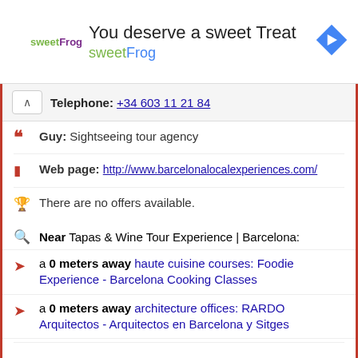[Figure (screenshot): sweetFrog advertisement banner with logo, tagline 'You deserve a sweet Treat', brand name 'sweetFrog', and a blue diamond navigation arrow icon]
Telephone: +34 603 11 21 84
Guy: Sightseeing tour agency
Web page: http://www.barcelonalocalexperiences.com/
There are no offers available.
Near Tapas & Wine Tour Experience | Barcelona:
a 0 meters away haute cuisine courses: Foodie Experience - Barcelona Cooking Classes
a 0 meters away architecture offices: RARDO Arquitectos - Arquitectos en Barcelona y Sitges
Are you the owner of the business? PROMOTE IT!